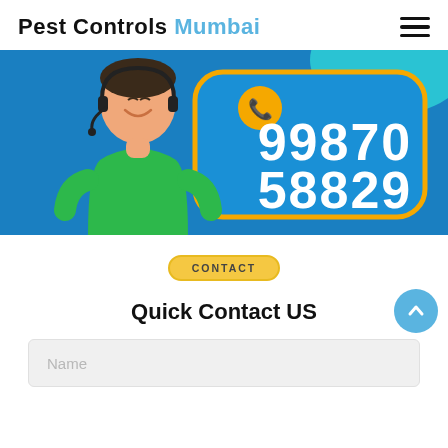Pest Controls Mumbai
[Figure (illustration): Customer service representative illustration with headset and speech bubble showing phone number 99870 58829 on blue background]
CONTACT
Quick Contact US
Name